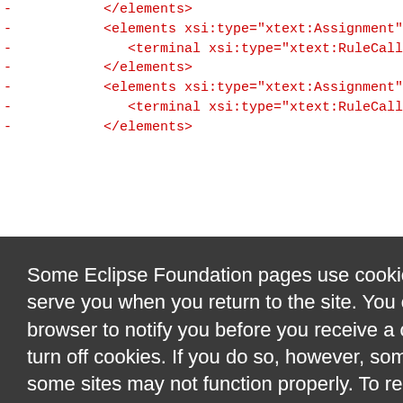- </elements>
- <elements xsi:type="xtext:Assignment" f
- <terminal xsi:type="xtext:RuleCall" ru
- </elements>
- <elements xsi:type="xtext:Assignment" fe
- <terminal xsi:type="xtext:RuleCall" ru
- </elements>
Some Eclipse Foundation pages use cookies to better serve you when you return to the site. You can set your browser to notify you before you receive a cookie or turn off cookies. If you do so, however, some areas of some sites may not function properly. To read Eclipse Foundation Privacy Policy
click here.
Decline
Allow cookies
- <elements xsi:type="xtext:Keyword" value